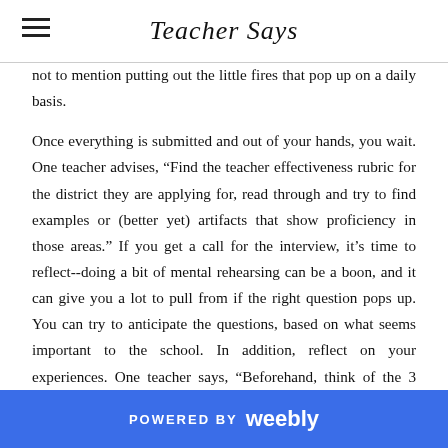Teacher Says
not to mention putting out the little fires that pop up on a daily basis.
Once everything is submitted and out of your hands, you wait.  One teacher advises, “Find the teacher effectiveness rubric for the district they are applying for, read through and try to find examples or (better yet) artifacts that show proficiency in those areas.”  If you get a call for the interview, it’s time to reflect--doing a bit of mental rehearsing can be a boon, and it can give you a lot to pull from if the right question pops up.  You can try to anticipate the questions, based on what seems important to the school.  In addition, reflect on your experiences.  One teacher says, “Beforehand, think of the 3 best teacher moments of your career…could be success with a struggling student, getting services for a student who needed it, working with a family, etc.”  Recalling these sorts of moments can be self-assuring of your talents and skills, but they can also be useful later on.  She adds,
POWERED BY weebly